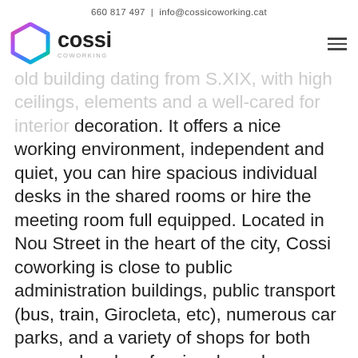660 817 497  |  info@cossicoworking.cat
[Figure (logo): Cossi Coworking logo with hexagonal colorful icon and bold 'cossi' text with 'COWORKING' subtitle]
old building dating from S.XIX, with high ceilings, elements and a well-cared for interior decoration. It offers a nice working environment, independent and quiet, you can hire spacious individual desks in the shared rooms or hire the meeting room full equipped. Located in Nou Street in the heart of the city, Cossi coworking is close to public administration buildings, public transport (bus, train, Girocleta, etc), numerous car parks, and a variety of shops for both personal and professional needs.
We offer full-time, part-time, and one day desk rentals, a meeting room, virtual office rental, social or commercial tax addresses, etc.